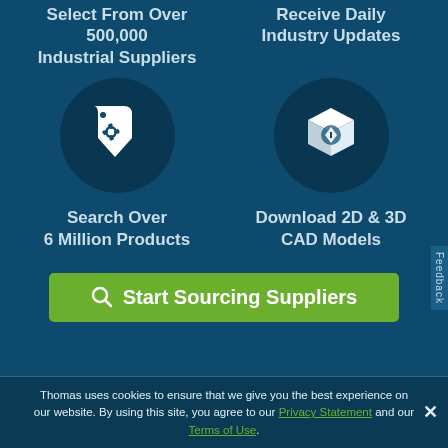Select From Over 500,000 Industrial Suppliers
Receive Daily Industry Updates
[Figure (illustration): Price tag with gear icon inside a dark circle]
[Figure (illustration): 3D cube/package icon inside a dark circle]
Search Over 6 Million Products
Download 2D & 3D CAD Models
Start Sourcing Suppliers
Thomas uses cookies to ensure that we give you the best experience on our website. By using this site, you agree to our Privacy Statement and our Terms of Use.